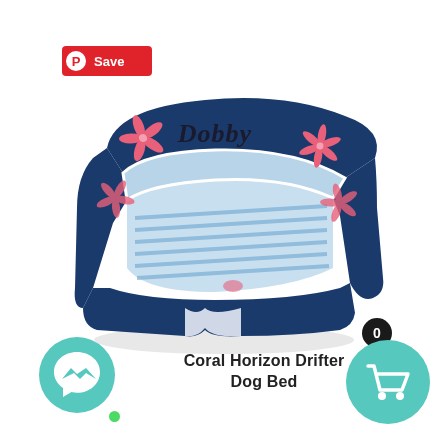[Figure (photo): Pinterest Save button with red background, Pinterest logo circle icon and 'Save' text in white]
[Figure (photo): A navy blue dog bed with light blue interior featuring pink tropical floral pattern and blue stripes, with 'Dobby' embroidered in black cursive on the back panel]
Coral Horizon Drifter Dog Bed
[Figure (other): Teal circular Messenger chat button with white messenger lightning bolt icon and green online indicator dot]
[Figure (other): Teal circular shopping cart button with white cart icon, black badge showing 0]